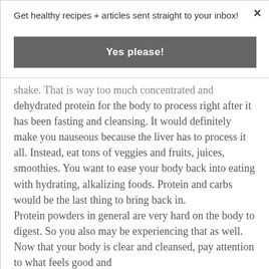Get healthy recipes + articles sent straight to your inbox!
Yes please!
shake. That is way too much concentrated and dehydrated protein for the body to process right after it has been fasting and cleansing. It would definitely make you nauseous because the liver has to process it all. Instead, eat tons of veggies and fruits, juices, smoothies. You want to ease your body back into eating with hydrating, alkalizing foods. Protein and carbs would be the last thing to bring back in.
Protein powders in general are very hard on the body to digest. So you also may be experiencing that as well. Now that your body is clear and cleansed, pay attention to what feels good and